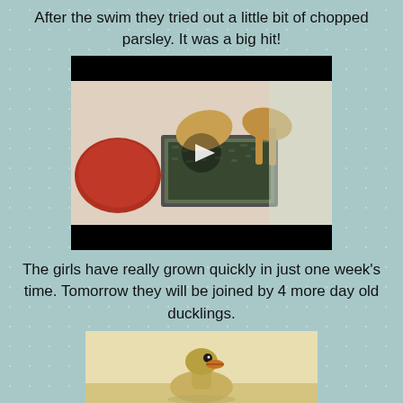After the swim they tried out a little bit of chopped parsley.  It was a big hit!
[Figure (photo): Video thumbnail showing ducklings eating from a tray with a play button overlay. Black bars at top and bottom.]
The girls have really grown quickly in just one week's time. Tomorrow they will be joined by 4 more day old ducklings.
[Figure (photo): Close-up photo of a duckling, showing the head and upper body against a light background.]